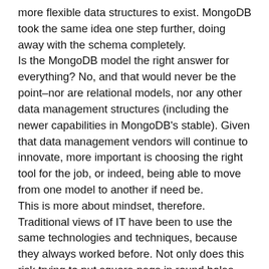more flexible data structures to exist. MongoDB took the same idea one step further, doing away with the schema completely.
Is the MongoDB model the right answer for everything? No, and that would never be the point–nor are relational models, nor any other data management structures (including the newer capabilities in MongoDB's stable). Given that data management vendors will continue to innovate, more important is choosing the right tool for the job, or indeed, being able to move from one model to another if need be.
This is more about mindset, therefore. Traditional views of IT have been to use the same technologies and techniques, because they always worked before. Not only does this risk trying to put square pegs in round holes, but also it can mean missed opportunities if the definition of what is possible is constrained by what is understood.